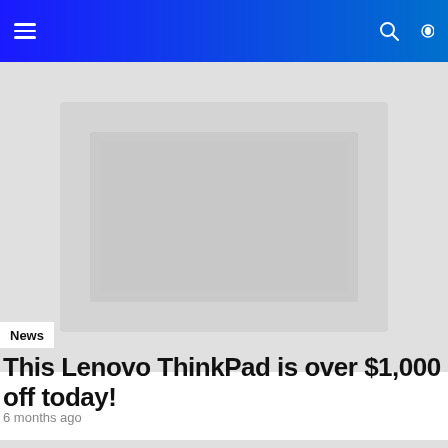Navigation bar with menu, search, and theme toggle icons
[Figure (photo): Large hero image placeholder with light gray background]
News
This Lenovo ThinkPad is over $1,000 off today!
6 months ago
[Figure (photo): Second article image placeholder with light gray background]